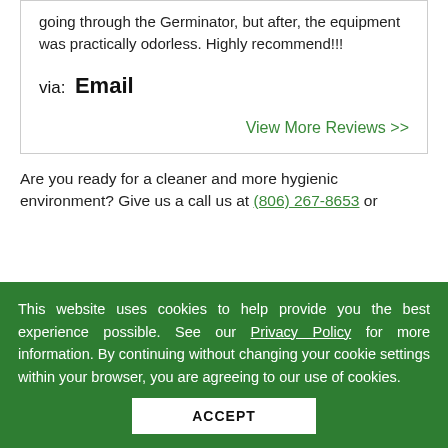going through the Germinator, but after, the equipment was practically odorless. Highly recommend!!!
via:  Email
View More Reviews >>
Are you ready for a cleaner and more hygienic environment? Give us a call us at (806) 267-8653 or
This website uses cookies to help provide you the best experience possible. See our Privacy Policy for more information. By continuing without changing your cookie settings within your browser, you are agreeing to our use of cookies.
ACCEPT